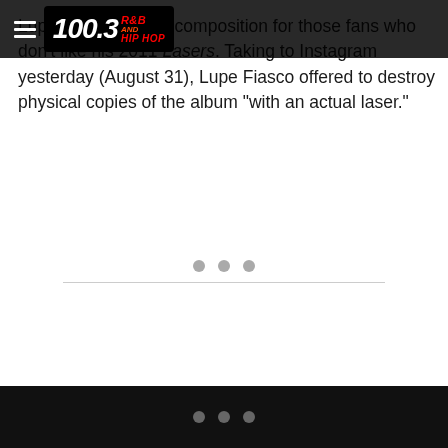100.3 R&B and Hip Hop
Lupe Fiasco is on a composition for those fans who don't like his 2011 ... Lasers. Taking to Instagram yesterday (August 31), Lupe Fiasco offered to destroy physical copies of the album “with an actual laser.”
[Figure (other): Loading indicator with three gray dots and a horizontal divider line]